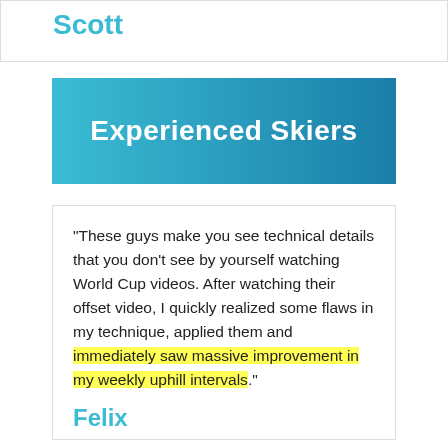Scott
Experienced Skiers
"These guys make you see technical details that you don't see by yourself watching World Cup videos. After watching their offset video, I quickly realized some flaws in my technique, applied them and immediately saw massive improvement in my weekly uphill intervals."
Felix